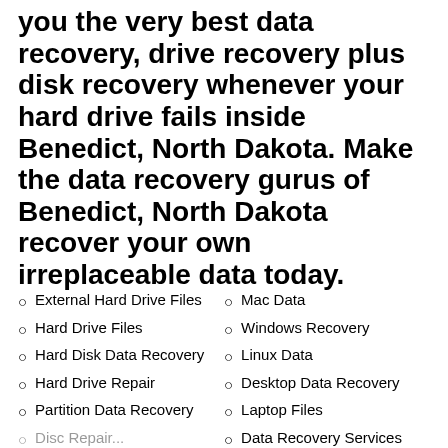you the very best data recovery, drive recovery plus disk recovery whenever your hard drive fails inside Benedict, North Dakota. Make the data recovery gurus of Benedict, North Dakota recover your own irreplaceable data today.
External Hard Drive Files
Hard Drive Files
Hard Disk Data Recovery
Hard Drive Repair
Partition Data Recovery
Mac Data
Windows Recovery
Linux Data
Desktop Data Recovery
Laptop Files
Data Recovery Services
iPod Files